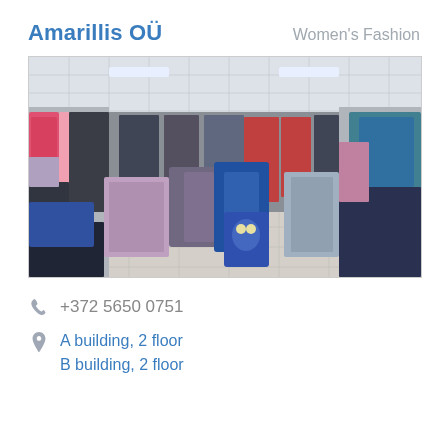Amarillis OÜ
Women's Fashion
[Figure (photo): Interior of a women's clothing store showing racks and shelves full of colorful garments on both walls and in the center of the room, with tile flooring and drop ceiling.]
+372 5650 0751
A building, 2 floor
B building, 2 floor